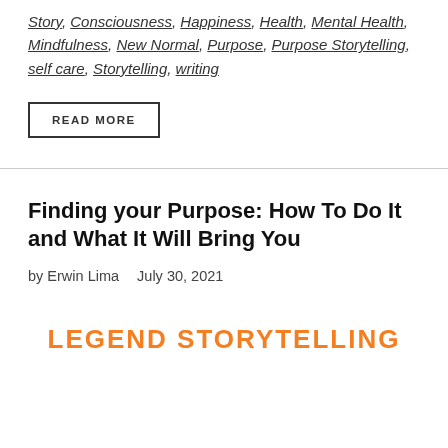Story, Consciousness, Happiness, Health, Mental Health, Mindfulness, New Normal, Purpose, Purpose Storytelling, self care, Storytelling, writing
READ MORE
Finding your Purpose: How To Do It and What It Will Bring You
by Erwin Lima  July 30, 2021
[Figure (logo): Legend Storytelling logo in orange uppercase handwritten-style font]